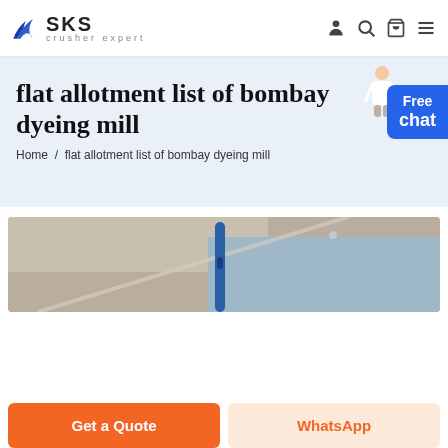SKS crusher expert
flat allotment list of bombay dyeing mill
Home / flat allotment list of bombay dyeing mill
[Figure (photo): Industrial machinery photo showing metal pipe or shaft against a ceiling/structural background with blue and beige tones]
Get a Quote
WhatsApp